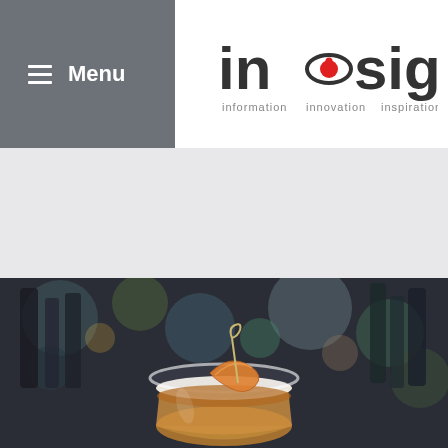Menu | in-sight information innovation inspiration
[Figure (photo): Cocktail drink in a coupe glass with orange peel garnish on a cocktail pick, blurred bar bottles background with bokeh lighting]
[Figure (logo): in-sight logo with eye graphic, tagline: information innovation inspiration]